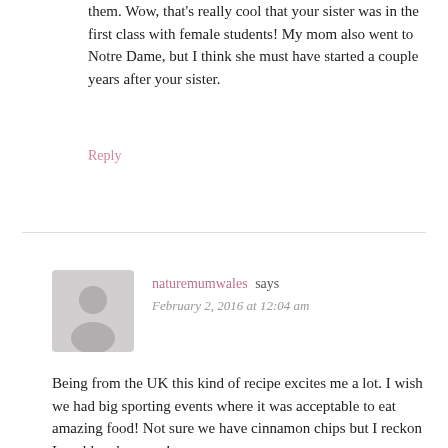them. Wow, that's really cool that your sister was in the first class with female students! My mom also went to Notre Dame, but I think she must have started a couple years after your sister.
Reply
[Figure (illustration): Gray avatar silhouette icon for user naturemumwales]
naturemumwales says
February 2, 2016 at 12:04 am
Being from the UK this kind of recipe excites me a lot. I wish we had big sporting events where it was acceptable to eat amazing food! Not sure we have cinnamon chips but I reckon I could make some!